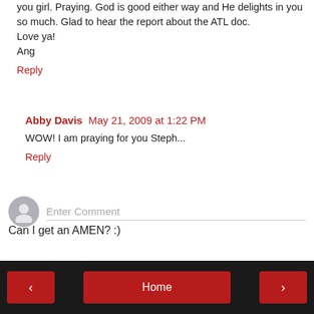you girl. Praying. God is good either way and He delights in you so much. Glad to hear the report about the ATL doc. Love ya!
Ang
Reply
Abby Davis  May 21, 2009 at 1:22 PM
WOW! I am praying for you Steph...
Reply
Enter Comment
Can I get an AMEN? :)
< Home >